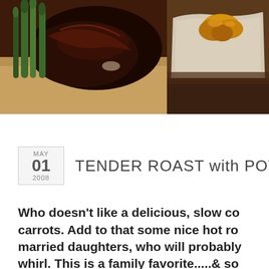[Figure (photo): Close-up photo of grilled/braised meat ribs with asparagus on a wooden cutting board]
[Figure (photo): Close-up photo of roasted potatoes on parchment paper]
TENDER ROAST with POTATOES
Who doesn't like a delicious, slow co carrots. Add to that some nice hot ro married daughters, who will probably whirl. This is a family favorite.....& so